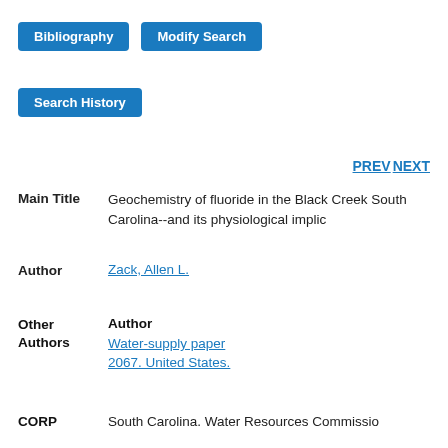[Figure (screenshot): Blue button labeled 'Bibliography']
[Figure (screenshot): Blue button labeled 'Modify Search']
[Figure (screenshot): Blue button labeled 'Search History']
PREV NEXT
Main Title
Geochemistry of fluoride in the Black Creek South Carolina--and its physiological implic
Author
Zack, Allen L.
Other Authors
Author
Water-supply paper
2067. United States.
CORP
South Carolina. Water Resources Commissio